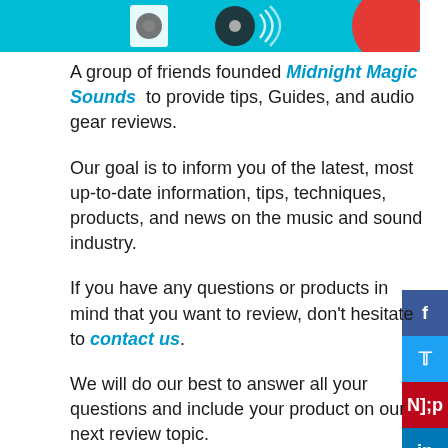[Figure (illustration): Header banner image with teal/cyan background showing audio equipment icons (speaker, vinyl record), and a red circular element on the right.]
A group of friends founded Midnight Magic Sounds  to provide tips, Guides, and audio gear reviews.
Our goal is to inform you of the latest, most up-to-date information, tips, techniques, products, and news on the music and sound industry.
If you have any questions or products in mind that you want to review, don't hesitate to contact us.
We will do our best to answer all your questions and include your product on our next review topic.